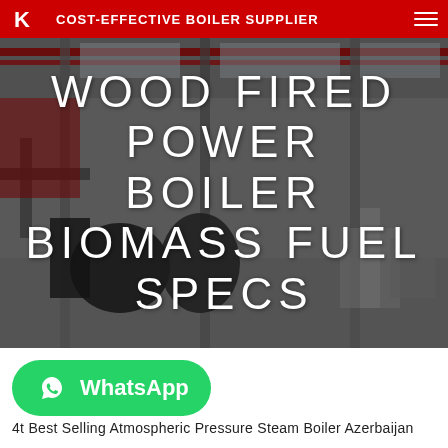COST-EFFECTIVE BOILER SUPPLIER
[Figure (photo): Industrial boiler manufacturing plant interior with large metal equipment, overhead cranes, and factory floor]
WOOD FIRED POWER BOILER BIOMASS FUEL SPECS
[Figure (logo): WhatsApp button with green background, phone icon and WhatsApp label]
4t Best Selling Atmospheric Pressure Steam Boiler Azerbaijan